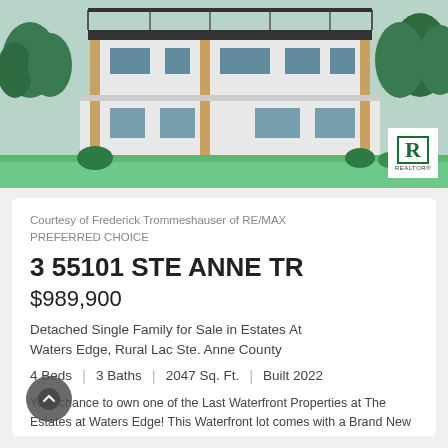[Figure (photo): Exterior rendering of a modern two-story walkout loft bungalow with wood accents, large windows, wraparound deck, and green lawn. REALTOR logo badge in bottom-right corner.]
Courtesy of Frederick Trommeshauser of RE/MAX PREFERRED CHOICE
3 55101 STE ANNE TR
$989,900
Detached Single Family for Sale in Estates At Waters Edge, Rural Lac Ste. Anne County
4 Beds  |  3 Baths  |  2047 Sq. Ft.  |  Built 2022
Your chance to own one of the Last Waterfront Properties at The Estates at Waters Edge! This Waterfront lot comes with a Brand New WALKOUT LOFT BUNGALOW... WOW!! Over 360 SqFT of OPULET LAKEFRONT LIVING in this 4 Bedroom VAULTED masterpiece. Fully f ...